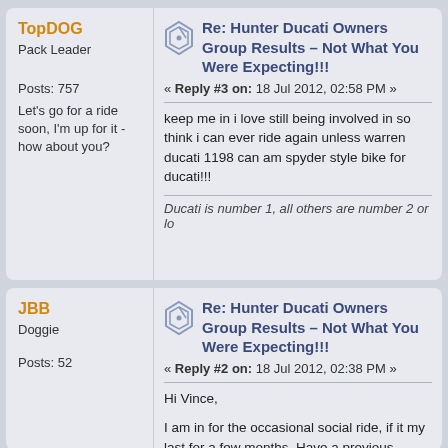TopDOG
Pack Leader
Posts: 757
Let's go for a ride soon, I'm up for it - how about you?
Re: Hunter Ducati Owners Group Results – Not What You Were Expecting!!!
« Reply #3 on: 18 Jul 2012, 02:58 PM »
keep me in i love still being involved in so think i can ever ride again unless warren ducati 1198 can am spyder style bike for ducati!!!
Ducati is number 1, all others are number 2 or lo
JBB
Doggie
Posts: 52
Re: Hunter Ducati Owners Group Results – Not What You Were Expecting!!!
« Reply #2 on: 18 Jul 2012, 02:38 PM »
Hi Vince,
I am in for the occasional social ride,  if it my last for a few months. Have a previous weeks today!!
My preference is to maintain this format o